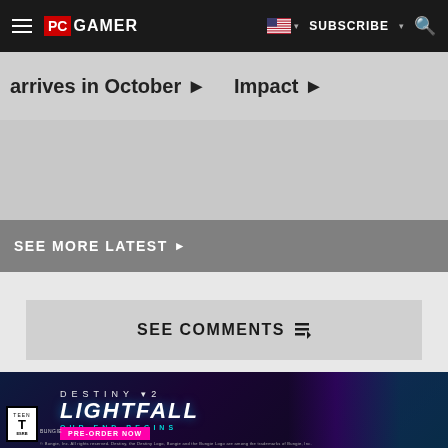PC GAMER | SUBSCRIBE
arrives in October ▶
Impact ▶
SEE MORE LATEST ▶
SEE COMMENTS
[Figure (photo): Destiny 2 Lightfall advertisement banner showing 'Our End Begins' with Pre-Order Now button, characters in sci-fi setting, ESRB Teen rating]